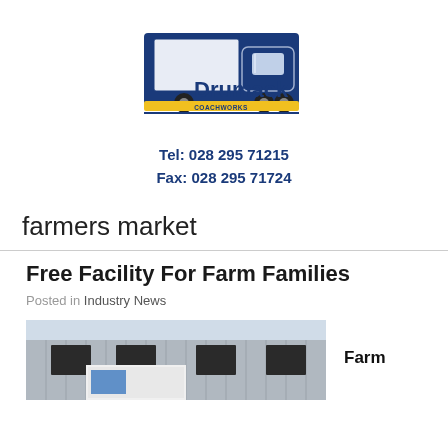[Figure (logo): Drumack Coachworks logo with blue truck graphic and yellow accent, company name in bold blue lettering]
Tel: 028 295 71215
Fax: 028 295 71724
farmers market
Free Facility For Farm Families
Posted in Industry News
[Figure (photo): Exterior of a modern building with windows, partially visible, blue sky]
Farm